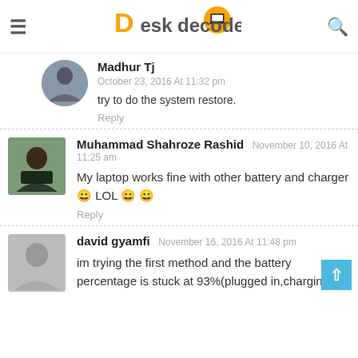DeskDecode
Madhur Tj
October 23, 2016 At 11:32 pm
try to do the system restore.
Reply
Muhammad Shahroze Rashid  November 10, 2016 At 11:25 am
My laptop works fine with other battery and charger 😀 LOL 😀 😀
Reply
david gyamfi  November 16, 2016 At 11:48 pm
im trying the first method and the battery percentage is stuck at 93%(plugged in,charging)